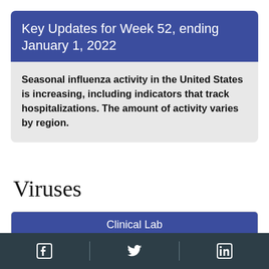Key Updates for Week 52, ending January 1, 2022
Seasonal influenza activity in the United States is increasing, including indicators that track hospitalizations. The amount of activity varies by region.
Viruses
| Clinical Lab |
| --- |
| 8.8% |
Facebook | Twitter | LinkedIn